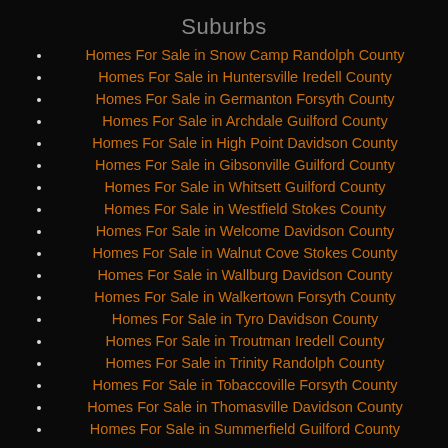Suburbs
Homes For Sale in Snow Camp Randolph County
Homes For Sale in Huntersville Iredell County
Homes For Sale in Germanton Forsyth County
Homes For Sale in Archdale Guilford County
Homes For Sale in High Point Davidson County
Homes For Sale in Gibsonville Guilford County
Homes For Sale in Whitsett Guilford County
Homes For Sale in Westfield Stokes County
Homes For Sale in Welcome Davidson County
Homes For Sale in Walnut Cove Stokes County
Homes For Sale in Wallburg Davidson County
Homes For Sale in Walkertown Forsyth County
Homes For Sale in Tyro Davidson County
Homes For Sale in Troutman Iredell County
Homes For Sale in Trinity Randolph County
Homes For Sale in Tobaccoville Forsyth County
Homes For Sale in Thomasville Davidson County
Homes For Sale in Summerfield Guilford County